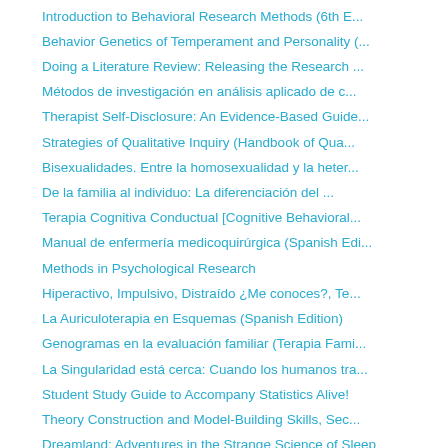Introduction to Behavioral Research Methods (6th E...
Behavior Genetics of Temperament and Personality (...
Doing a Literature Review: Releasing the Research ...
Métodos de investigación en análisis aplicado de c...
Therapist Self-Disclosure: An Evidence-Based Guide...
Strategies of Qualitative Inquiry (Handbook of Qua...
Bisexualidades. Entre la homosexualidad y la heter...
De la familia al individuo: La diferenciación del ...
Terapia Cognitiva Conductual [Cognitive Behavioral...
Manual de enfermería medicoquirúrgica (Spanish Edi...
Methods in Psychological Research
Hiperactivo, Impulsivo, Distraído ¿Me conoces?, Te...
La Auriculoterapia en Esquemas (Spanish Edition)
Genogramas en la evaluación familiar (Terapia Fami...
La Singularidad está cerca: Cuando los humanos tra...
Student Study Guide to Accompany Statistics Alive!
Theory Construction and Model-Building Skills, Sec...
Dreamland: Adventures in the Strange Science of Sleep